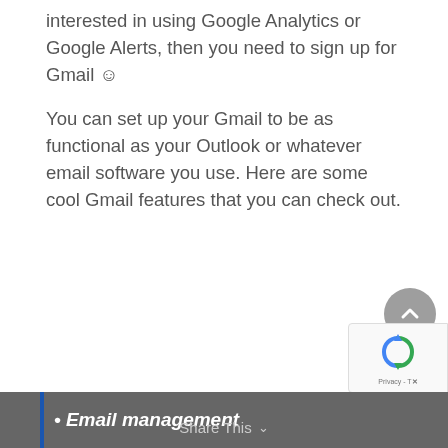interested in using Google Analytics or Google Alerts, then you need to sign up for Gmail ☺
You can set up your Gmail to be as functional as your Outlook or whatever email software you use. Here are some cool Gmail features that you can check out.
Email management